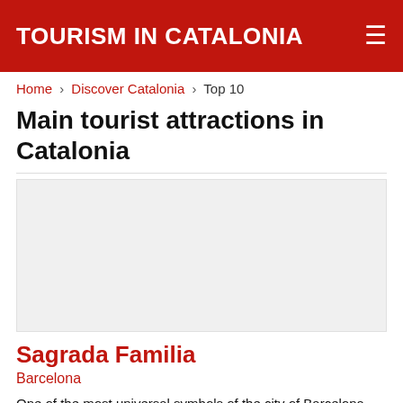TOURISM IN CATALONIA
Home › Discover Catalonia › Top 10
Main tourist attractions in Catalonia
[Figure (photo): Large image placeholder for Sagrada Familia or Catalonia tourist attraction]
Sagrada Familia
Barcelona
One of the most universal symbols of the city of Barcelona and the greatest exponent of Catalan modernist architecture. The